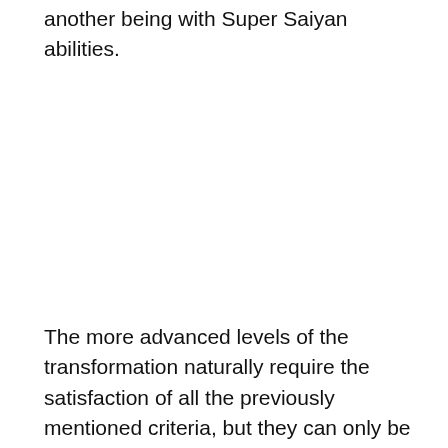another being with Super Saiyan abilities.
The more advanced levels of the transformation naturally require the satisfaction of all the previously mentioned criteria, but they can only be accessed through channels formed by strong focus and will. Kale forms such a connection from Caulif...